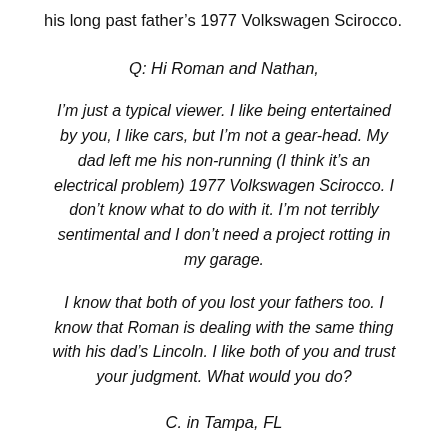his long past father's 1977 Volkswagen Scirocco.
Q: Hi Roman and Nathan,
I'm just a typical viewer. I like being entertained by you, I like cars, but I'm not a gear-head. My dad left me his non-running (I think it's an electrical problem) 1977 Volkswagen Scirocco. I don't know what to do with it. I'm not terribly sentimental and I don't need a project rotting in my garage.
I know that both of you lost your fathers too. I know that Roman is dealing with the same thing with his dad's Lincoln. I like both of you and trust your judgment. What would you do?
C. in Tampa, FL
A: Wow, that's a tough one. It's always hard to make suggestions based on matters of family and nostalgia. Yes, we've all lost our fathers, but we had different relationships